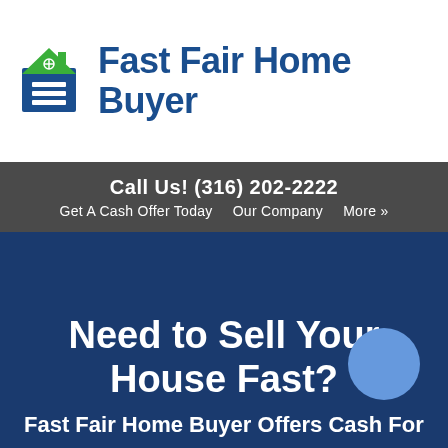[Figure (logo): Fast Fair Home Buyer logo with green house icon and blue square with white horizontal lines, followed by blue bold text 'Fast Fair Home Buyer']
Call Us! (316) 202-2222
Get A Cash Offer Today    Our Company    More »
Need to Sell Your House Fast?
Fast Fair Home Buyer Offers Cash For